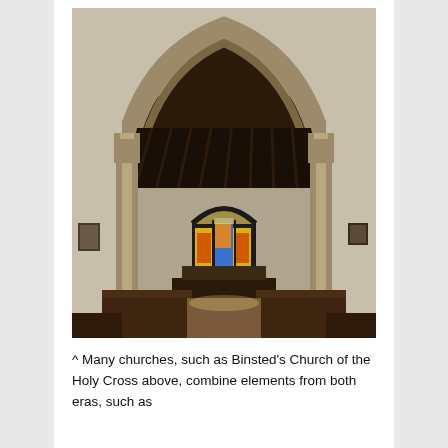[Figure (photo): Interior photograph of Binsted's Church of the Holy Cross, showing a Gothic pointed stone arch leading to the chancel, a colorful stained glass window at the far end, wooden choir stalls, pews in the foreground, and a timber-beamed ceiling.]
^ Many churches, such as Binsted's Church of the Holy Cross above, combine elements from both eras, such as